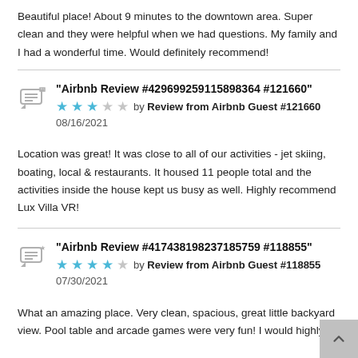Beautiful place! About 9 minutes to the downtown area. Super clean and they were helpful when we had questions. My family and I had a wonderful time. Would definitely recommend!
"Airbnb Review #429699259115898364 #121660"
★★★☆☆ by Review from Airbnb Guest #121660
08/16/2021
Location was great! It was close to all of our activities - jet skiing, boating, local & restaurants. It housed 11 people total and the activities inside the house kept us busy as well. Highly recommend Lux Villa VR!
"Airbnb Review #417438198237185759 #118855"
★★★★☆ by Review from Airbnb Guest #118855
07/30/2021
What an amazing place. Very clean, spacious, great little backyard view. Pool table and arcade games were very fun! I would highly